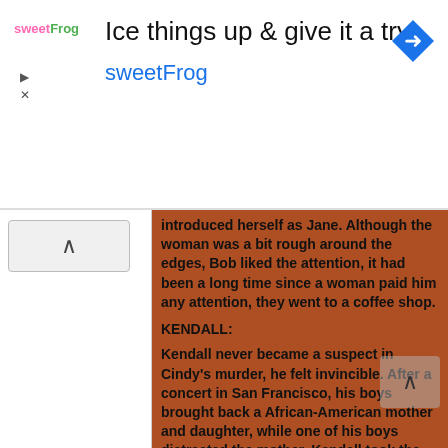[Figure (screenshot): Advertisement banner for sweetFrog frozen yogurt. Headline: 'Ice things up & give it a try', brand name 'sweetFrog' in blue, logo at left, navigation arrow icon at right.]
introduced herself as Jane. Although the woman was a bit rough around the edges, Bob liked the attention, it had been a long time since a woman paid him any attention, they went to a coffee shop.
KENDALL:
Kendall never became a suspect in Cindy's murder, he felt invincible. After a concert in San Francisco, his boys brought back a African-American mother and daughter, while one of his boys distracted the mother, Kendall took the